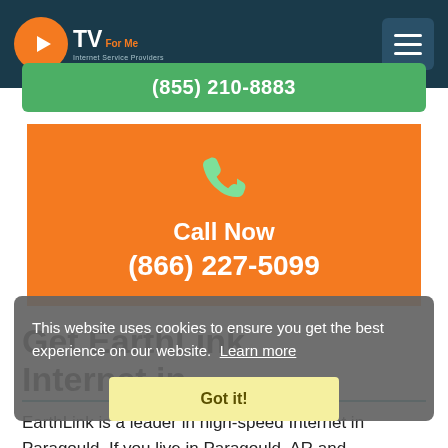CTV For Me — Internet Service Providers
(855) 210-8883
[Figure (illustration): Orange call-to-action banner with green phone icon, text 'Call Now' and phone number '(866) 227-5099']
Get EarthLink Internet in Paragould, AR
This website uses cookies to ensure you get the best experience on our website.  Learn more
Got it!
EarthLink is a leader in high-speed Internet in Paragould. If you live in Paragould, AR and